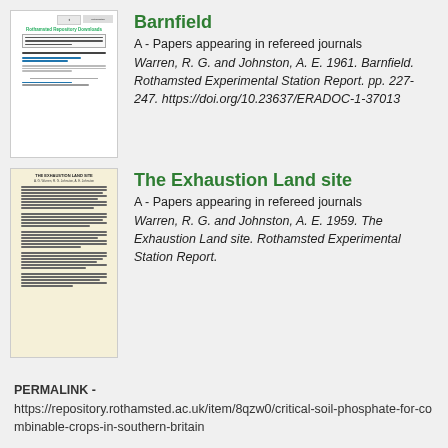[Figure (illustration): Thumbnail of a document page with white background, showing a header with logo, green title text, a bordered box with text lines, and blue underlined links]
Barnfield
A - Papers appearing in refereed journals
Warren, R. G. and Johnston, A. E. 1961. Barnfield. Rothamsted Experimental Station Report. pp. 227-247. https://doi.org/10.23637/ERADOC-1-37013
[Figure (illustration): Thumbnail of a document page with cream/yellow background, showing 'THE EXHAUSTION LAND SITE' title and dense text paragraphs]
The Exhaustion Land site
A - Papers appearing in refereed journals
Warren, R. G. and Johnston, A. E. 1959. The Exhaustion Land site. Rothamsted Experimental Station Report.
PERMALINK -
https://repository.rothamsted.ac.uk/item/8qzw0/critical-soil-phosphate-for-combinable-crops-in-southern-britain